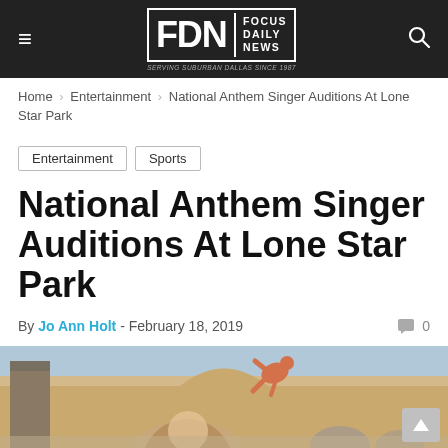FDN | FOCUS DAILY NEWS — SERVING SUBURBAN DALLAS SINCE 1987
Home › Entertainment › National Anthem Singer Auditions At Lone Star Park
Entertainment
Sports
National Anthem Singer Auditions At Lone Star Park
By Jo Ann Holt - February 18, 2019  🗨 0
[Figure (photo): Woman with long blonde hair in front of Lone Star Park entrance featuring an orange horse racing jockey sculpture on the building facade]